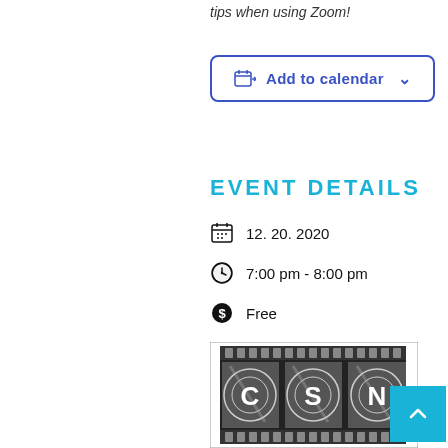tips when using Zoom!
Add to calendar
EVENT DETAILS
12. 20. 2020
7:00 pm - 8:00 pm
Free
[Figure (photo): Film strip with letters C, S, N on old film frames]